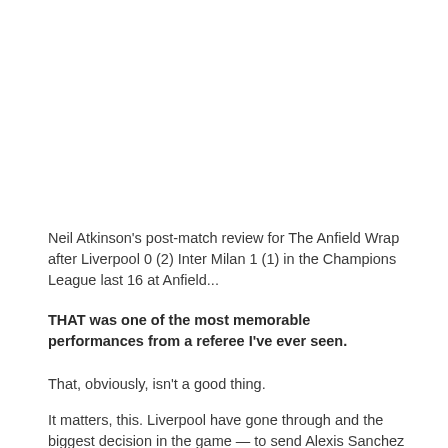Neil Atkinson's post-match review for The Anfield Wrap after Liverpool 0 (2) Inter Milan 1 (1) in the Champions League last 16 at Anfield...
THAT was one of the most memorable performances from a referee I've ever seen.
That, obviously, isn't a good thing.
It matters, this. Liverpool have gone through and the biggest decision in the game — to send Alexis Sanchez